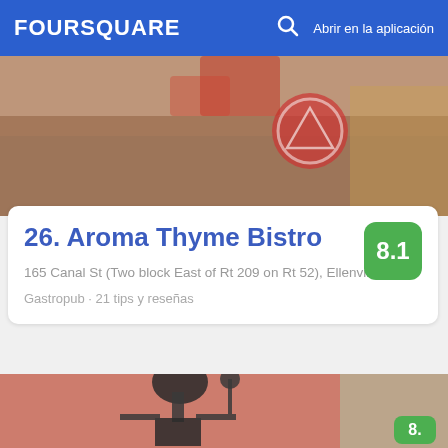FOURSQUARE  🔍  Abrir en la aplicación
[Figure (photo): Top photo showing decorative items with red circular sign and warm tones]
26. Aroma Thyme Bistro
165 Canal St (Two block East of Rt 209 on Rt 52), Ellenville, NY
Gastropub · 21 tips y reseñas
[Figure (photo): Bottom photo showing a dark abstract sculpture of a humanoid figure against a pink/salmon colored wall with a window visible on the right]